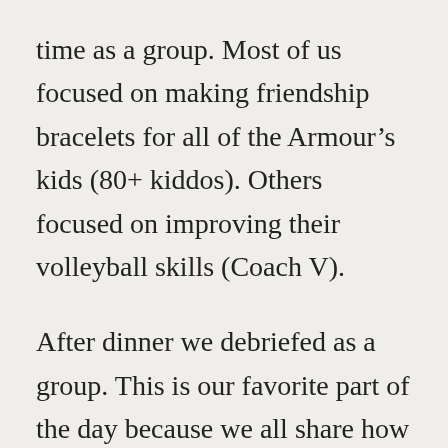time as a group. Most of us focused on making friendship bracelets for all of the Armour’s kids (80+ kiddos). Others focused on improving their volleyball skills (Coach V).
After dinner we debriefed as a group. This is our favorite part of the day because we all share how we saw God throughout the day and how we were challenged. It’s so awesome to see how